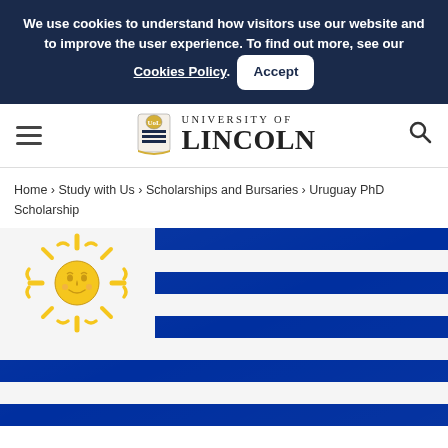We use cookies to understand how visitors use our website and to improve the user experience. To find out more, see our Cookies Policy. Accept
[Figure (logo): University of Lincoln logo with crest and text]
Home › Study with Us › Scholarships and Bursaries › Uruguay PhD Scholarship
[Figure (photo): Uruguay national flag waving, showing blue and white horizontal stripes with yellow sun emblem on white canton]